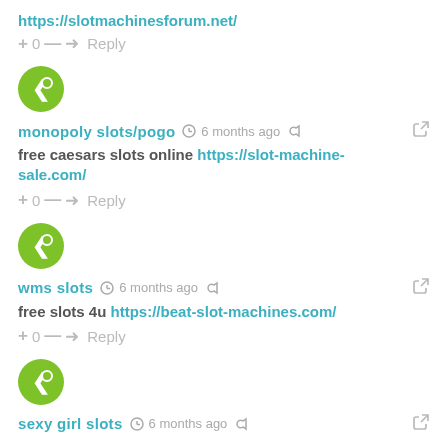https://slotmachinesforum.net/
+ 0 — → Reply
[Figure (other): Green circular avatar with white left-pointing arrow icon (Disqus user avatar)]
monopoly slots/pogo  6 months ago
free caesars slots online https://slot-machine-sale.com/
+ 0 — → Reply
[Figure (other): Green circular avatar with white left-pointing arrow icon (Disqus user avatar)]
wms slots  6 months ago
free slots 4u https://beat-slot-machines.com/
+ 0 — → Reply
[Figure (other): Green circular avatar with white left-pointing arrow icon (Disqus user avatar)]
sexy girl slots  6 months ago